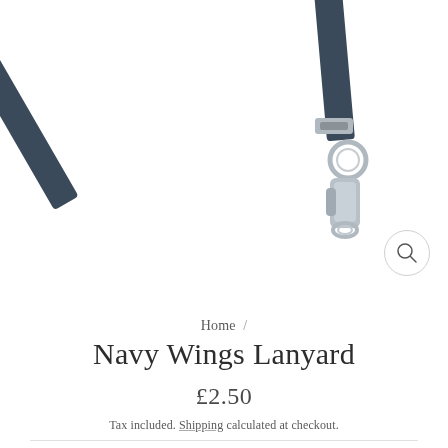[Figure (photo): Partial photo of a navy lanyard with metal clip and key ring hardware against a white background. A circular magnifying/zoom icon is visible in the lower right of the image area.]
Home /
Navy Wings Lanyard
£2.50
Tax included. Shipping calculated at checkout.